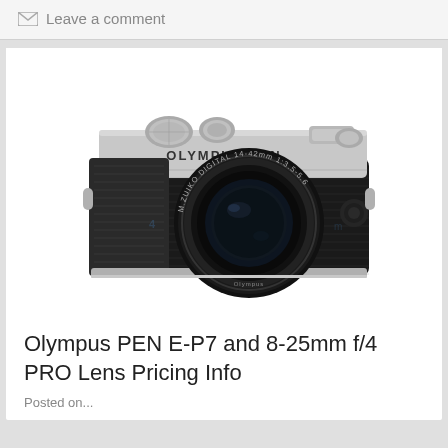Leave a comment
[Figure (photo): Olympus PEN E-P7 mirrorless camera with M.Zuiko Digital 14-42mm f/3.5-5.6 lens, silver and black body with textured grip, front view]
Olympus PEN E-P7 and 8-25mm f/4 PRO Lens Pricing Info
Posted on...